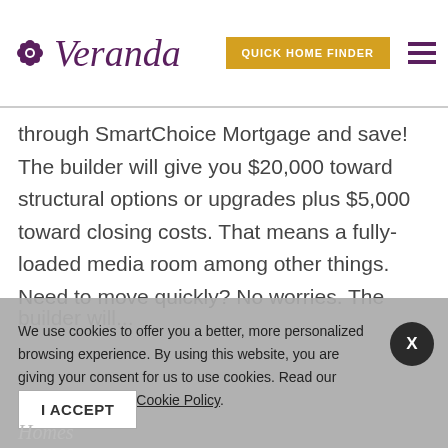[Figure (logo): Veranda logo with decorative flower icon and cursive brand name in purple]
through SmartChoice Mortgage and save! The builder will give you $20,000 toward structural options or upgrades plus $5,000 toward closing costs. That means a fully-loaded media room among other things. Need to move quickly? No worries. The
We use cookies to offer you a better, more personalized browsing experience. By using this website, you are giving your consent for us to use cookies. Read our Privacy Policy and Cookie Policy.
I ACCEPT